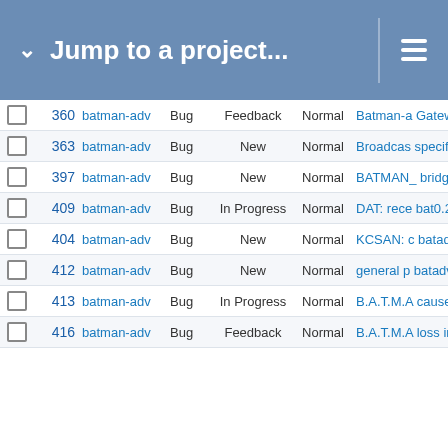Jump to a project...
|  | # | Project | Type | Status | Priority | Title |
| --- | --- | --- | --- | --- | --- | --- |
|  | 360 | batman-adv | Bug | Feedback | Normal | Batman-a Gateway |
|  | 363 | batman-adv | Bug | New | Normal | Broadcas specified |
|  | 397 | batman-adv | Bug | New | Normal | BATMAN_ bridge, vx |
|  | 409 | batman-adv | Bug | In Progress | Normal | DAT: rece bat0.20/e as source |
|  | 404 | batman-adv | Bug | New | Normal | KCSAN: c batadv_tt batadv_tt |
|  | 412 | batman-adv | Bug | New | Normal | general p batadv_h |
|  | 413 | batman-adv | Bug | In Progress | Normal | B.A.T.M.A causes o |
|  | 416 | batman-adv | Bug | Feedback | Normal | B.A.T.M.A loss in lin estimatio |